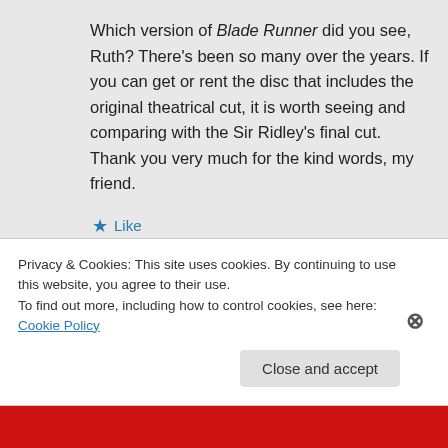Which version of Blade Runner did you see, Ruth? There's been so many over the years. If you can get or rent the disc that includes the original theatrical cut, it is worth seeing and comparing with the Sir Ridley's final cut. Thank you very much for the kind words, my friend.
★ Like
↳ Reply
Privacy & Cookies: This site uses cookies. By continuing to use this website, you agree to their use. To find out more, including how to control cookies, see here: Cookie Policy
Close and accept